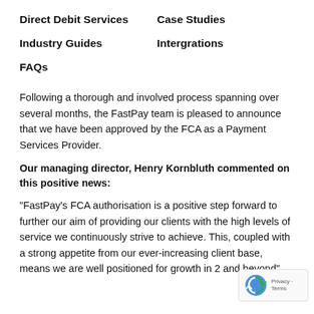Direct Debit Services
Case Studies
Industry Guides
Intergrations
FAQs
Following a thorough and involved process spanning over several months, the FastPay team is pleased to announce that we have been approved by the FCA as a Payment Services Provider.
Our managing director, Henry Kornbluth commented on this positive news:
“FastPay’s FCA authorisation is a positive step forward to further our aim of providing our clients with the high levels of service we continuously strive to achieve. This, coupled with a strong appetite from our ever-increasing client base, means we are well positioned for growth in 2 and beyond”